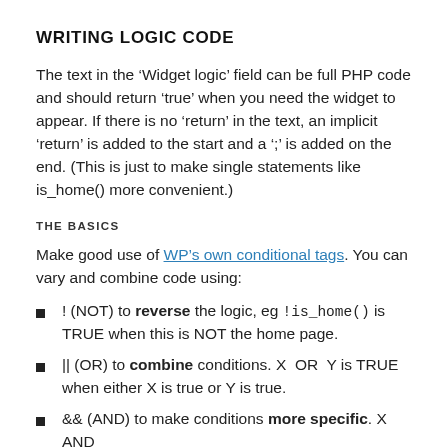WRITING LOGIC CODE
The text in the ‘Widget logic’ field can be full PHP code and should return ‘true’ when you need the widget to appear. If there is no ‘return’ in the text, an implicit ‘return’ is added to the start and a ‘;’ is added on the end. (This is just to make single statements like is_home() more convenient.)
THE BASICS
Make good use of WP’s own conditional tags. You can vary and combine code using:
! (NOT) to reverse the logic, eg !is_home() is TRUE when this is NOT the home page.
|| (OR) to combine conditions. X OR Y is TRUE when either X is true or Y is true.
&& (AND) to make conditions more specific. X AND